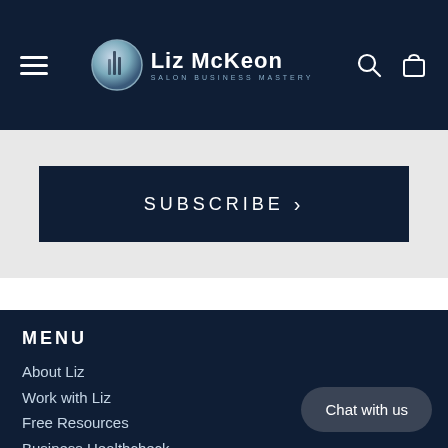Liz McKeon — Salon Business Mastery
SUBSCRIBE >
MENU
About Liz
Work with Liz
Free Resources
Business Healthcheck
Chat with us